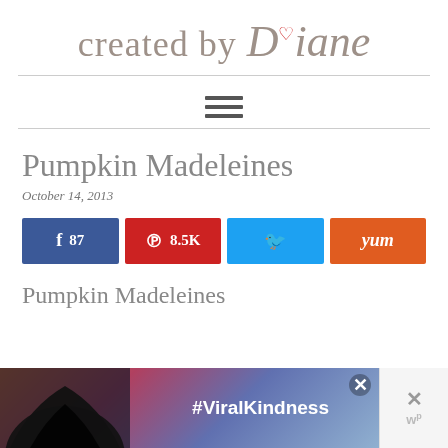created by Diane
Pumpkin Madeleines
October 14, 2013
[Figure (infographic): Social sharing buttons: Facebook (87), Pinterest (8.5K), Twitter, Yum]
Pumpkin Madeleines
[Figure (photo): Advertisement banner with hands making heart shape and text #ViralKindness]